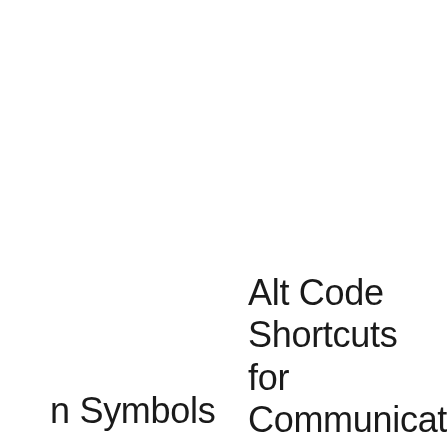Alt Code Shortcuts for Communication Symbols